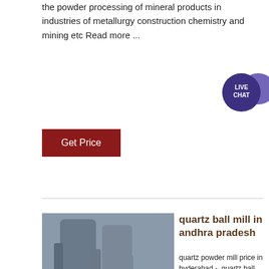the powder processing of mineral products in industries of metallurgy construction chemistry and mining etc Read more ...
[Figure (other): Dark red 'Get Price' button]
[Figure (other): Live Chat bubble icon in dark purple]
[Figure (photo): Photo of industrial ball mill machinery with ACRUSHER Mining Equipment logo overlay]
quartz ball mill in andhra pradesh
quartz powder mill price in hyderabad -, quartz ball mill in andhra pradesh - overlandconnection leading quartz crusher manufacturers in Iran - Hotels in Kerala- quartz ball mill in andhra pradesh Quartz in Silica Grinding Mill/Quartz Ball Leading ...